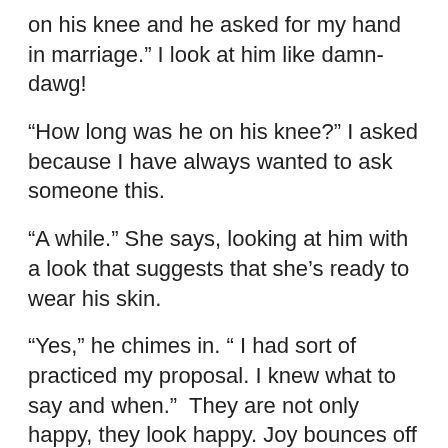on his knee and he asked for my hand in marriage.” I look at him like damn-dawg!
“How long was he on his knee?” I asked because I have always wanted to ask someone this.
“A while.” She says, looking at him with a look that suggests that she’s ready to wear his skin.
“Yes,” he chimes in. “ I had sort of practiced my proposal. I knew what to say and when.”  They are not only happy, they look happy. Joy bounces off them. I feel like a fly would accidentally land on their skin and die from an overdose of their sanitised happiness. They smile a lot. They look into each other’s eyes; lingering looks. While she’s vivacious, outgoing, and bubbly, he’s more demure. She looks like the risk-taker (as exhibited), while he looks like the type who wants to mull over things a bit longer. The kind of fellow who measures twice and cuts once